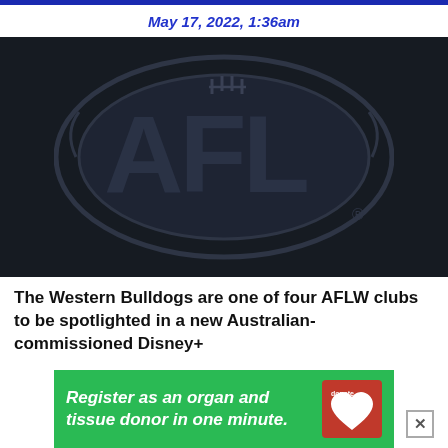May 17, 2022, 1:36am
[Figure (logo): AFL logo — oval football badge with 'AFL' text, dark monochrome on near-black background]
The Western Bulldogs are one of four AFLW clubs to be spotlighted in a new Australian-commissioned Disney+
[Figure (infographic): Green advertisement banner reading 'Register as an organ and tissue donor in one minute.' with a red DonateLife heart logo on the right, and a close (X) button]